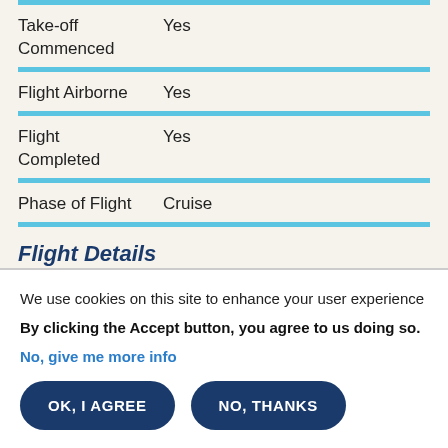| Field | Value |
| --- | --- |
| Take-off Commenced | Yes |
| Flight Airborne | Yes |
| Flight Completed | Yes |
| Phase of Flight | Cruise |
Flight Details
We use cookies on this site to enhance your user experience
By clicking the Accept button, you agree to us doing so.
No, give me more info
OK, I AGREE
NO, THANKS